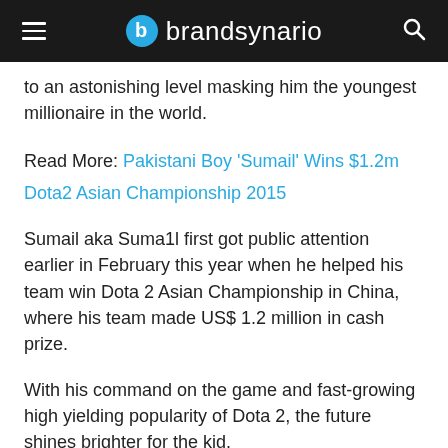brandsynario
to an astonishing level masking him the youngest millionaire in the world.
Read More: Pakistani Boy 'Sumail' Wins $1.2m Dota2 Asian Championship 2015
Sumail aka Suma1l first got public attention earlier in February this year when he helped his team win Dota 2 Asian Championship in China, where his team made US$ 1.2 million in cash prize.
With his command on the game and fast-growing high yielding popularity of Dota 2, the future shines brighter for the kid.